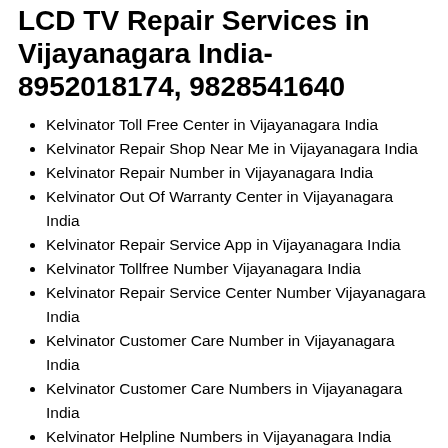LCD TV Repair Services in Vijayanagara India-8952018174, 9828541640
Kelvinator Toll Free Center in Vijayanagara India
Kelvinator Repair Shop Near Me in Vijayanagara India
Kelvinator Repair Number in Vijayanagara India
Kelvinator Out Of Warranty Center in Vijayanagara India
Kelvinator Repair Service App in Vijayanagara India
Kelvinator Tollfree Number Vijayanagara India
Kelvinator Repair Service Center Number Vijayanagara India
Kelvinator Customer Care Number in Vijayanagara India
Kelvinator Customer Care Numbers in Vijayanagara India
Kelvinator Helpline Numbers in Vijayanagara India
Kelvinator Care in Vijayanagara India
Kelvinator Toll Free in Vijayanagara India
Kelvinator Center Near Me in Vijayanagara India
Kelvinator Care Vijayanagara India
Kelvinator Appliances Repair Services in Vijayanagara India